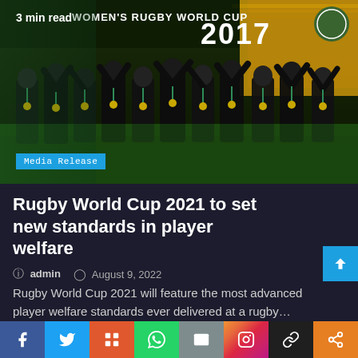[Figure (photo): Women's Rugby World Cup 2017 celebration photo showing a team in black jerseys celebrating with medals, with '3 min read' overlay text at top-left and 'Media Release' tag at bottom-left]
Rugby World Cup 2021 to set new standards in player welfare
© admin  © August 9, 2022
Rugby World Cup 2021 will feature the most advanced player welfare standards ever delivered at a rugby…